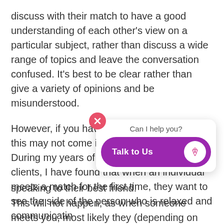discuss with their match to have a good understanding of each other's view on a particular subject, rather than discuss a wide range of topics and leave the conversation confused. It's best to be clear rather than give a variety of opinions and be misunderstood.
However, if you have not had any coaching this may not come into your mind.
During my years of communicating with my clients, I have found that when an individual meets a match for the first time, they want to see the side of the person who is relaxed and communicatin... speaking to their best friend.
[Figure (screenshot): Chat widget overlay with a pink X close button, 'Can I help you?' text, a purple 'Talk to Us' button with a geometric heart logo on white circle.]
This will not happen, as when someone meets you, most likely they (depending on their personality):